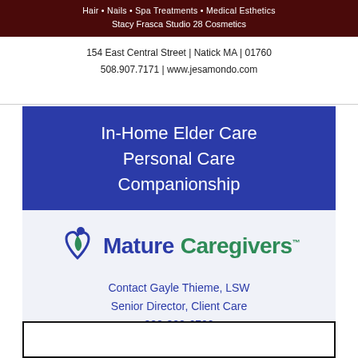Hair • Nails • Spa Treatments • Medical Esthetics
Stacy Frasca Studio 28 Cosmetics
154 East Central Street | Natick MA | 01760
508.907.7171 | www.jesamondo.com
[Figure (infographic): Mature Caregivers advertisement with blue banner showing In-Home Elder Care, Personal Care, Companionship; logo with heart icon; contact info for Gayle Thieme LSW; and footer banner with MatureCaregivers.com Waltham MA]
In-Home Elder Care
Personal Care
Companionship
Contact Gayle Thieme, LSW
Senior Director, Client Care
888-320-6700
gthieme@maturecaregivers.com
MatureCaregivers.com • Waltham, MA